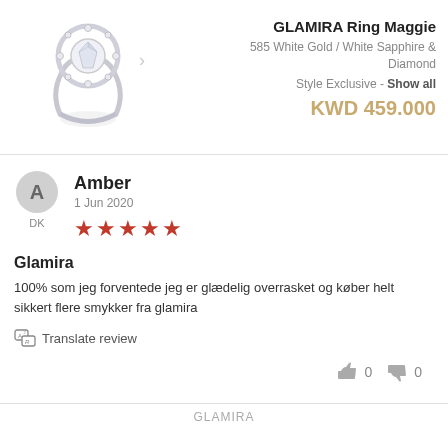[Figure (photo): Diamond ring (GLAMIRA Ring Maggie) photo with navigation arrow]
GLAMIRA Ring Maggie
585 White Gold / White Sapphire & Diamond
Style Exclusive - Show all
KWD 459.000
[Figure (illustration): Reviewer avatar circle with letter A]
DK
Amber
1 Jun 2020
[Figure (other): 5 red stars rating]
Glamira
100% som jeg forventede jeg er glædelig overrasket og køber helt sikkert flere smykker fra glamira
Translate review
0  0
GLAMIRA